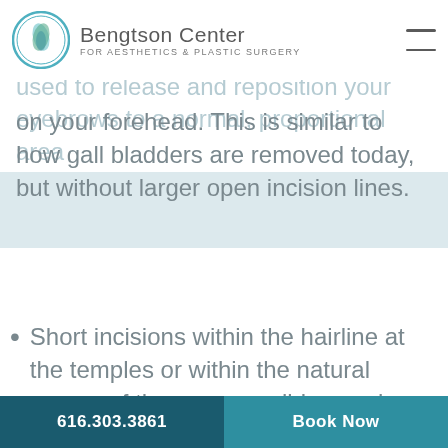Bengtson Center for Aesthetics & Plastic Surgery
endoscope, a special surgical instrument, used to release and reposition your eyebrows to a normal, proportional area on your forehead. This is similar to how gall bladders are removed today, but without larger open incision lines.
Short incisions within the hairline at the temples or within the natural crease of the upper eyelid may also improve the appearance of a hooded brow or frown lines.
616.303.3861  Book Now